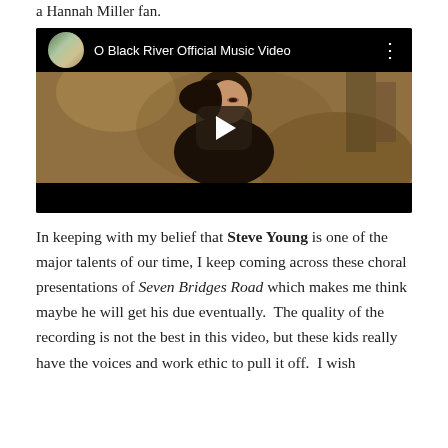a Hannah Miller fan.
[Figure (screenshot): YouTube video embed showing 'O Black River Official Music Video' with a woman in a black top in a wooded setting, with a play button overlay.]
In keeping with my belief that Steve Young is one of the major talents of our time, I keep coming across these choral presentations of Seven Bridges Road which makes me think maybe he will get his due eventually.  The quality of the recording is not the best in this video, but these kids really have the voices and work ethic to pull it off.  I wish